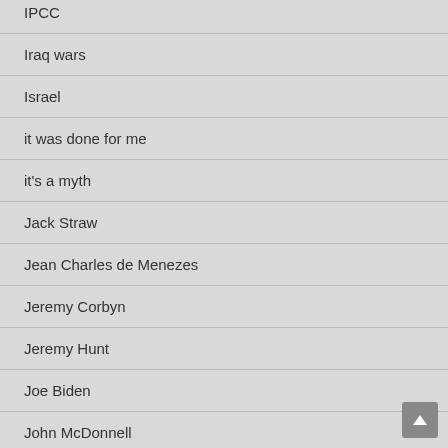IPCC
Iraq wars
Israel
it was done for me
it's a myth
Jack Straw
Jean Charles de Menezes
Jeremy Corbyn
Jeremy Hunt
Joe Biden
John McDonnell
John Reid
Julian Assange